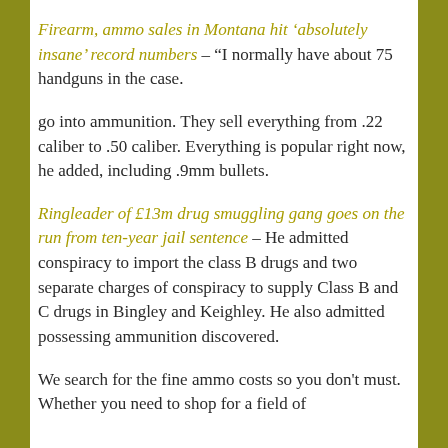Firearm, ammo sales in Montana hit ‘absolutely insane’ record numbers – “I normally have about 75 handguns in the case.
go into ammunition. They sell everything from .22 caliber to .50 caliber. Everything is popular right now, he added, including .9mm bullets.
Ringleader of £13m drug smuggling gang goes on the run from ten-year jail sentence – He admitted conspiracy to import the class B drugs and two separate charges of conspiracy to supply Class B and C drugs in Bingley and Keighley. He also admitted possessing ammunition discovered.
We search for the fine ammo costs so you don't must. Whether you need to shop for a field of